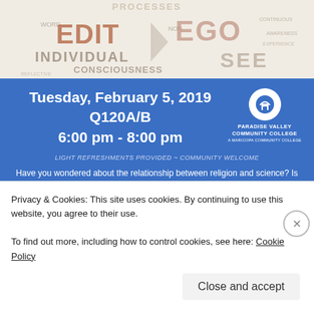[Figure (illustration): Word cloud background with words like EDIT, EGO, INDIVIDUAL, CONSCIOUSNESS, SEE, WORD, NON in various sizes and gray tones]
Tuesday, February 5, 2019
Q120A/B
6:00 pm - 8:00 pm
[Figure (logo): Paradise Valley Community College logo - white circle with house/building icon, text PARADISE VALLEY COMMUNITY COLLEGE, A MARICOPA COMMUNITY COLLEGE]
LIGHT REFRESHMENTS PROVIDED ~ COMMUNITY WELCOME
Have you wondered about the relationship between religion and science? Is there a division between the two? Dr. Rod Tussing will be discussing these topics as well as his new book: Religion and Science: The Deconstruction of a Modern Paradigm (Public Philosophy Press, 2019).
HOSTED BY THE PVCC PHILOSOPHICAL SOCIETY &
THE PVCC ALUMNI PROGRAM
Privacy & Cookies: This site uses cookies. By continuing to use this website, you agree to their use.
To find out more, including how to control cookies, see here: Cookie Policy
Close and accept